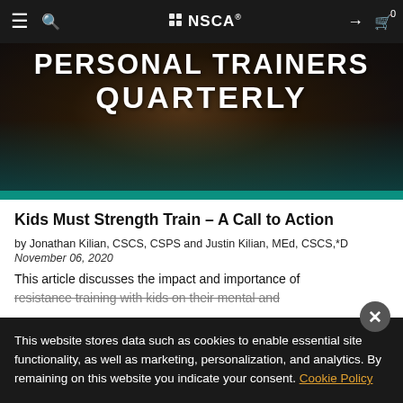NSCA Personal Trainers Quarterly – navigation bar
[Figure (photo): Hero banner image showing a person gripping a barbell or dumbbell in a dark gym setting, with overlaid text reading PERSONAL TRAINERS QUARTERLY in white bold uppercase letters, and a teal bar at the bottom.]
Kids Must Strength Train – A Call to Action
by Jonathan Kilian, CSCS, CSPS and Justin Kilian, MEd, CSCS,*D
November 06, 2020
This article discusses the impact and importance of resistance training with kids on their mental and
This website stores data such as cookies to enable essential site functionality, as well as marketing, personalization, and analytics. By remaining on this website you indicate your consent. Cookie Policy